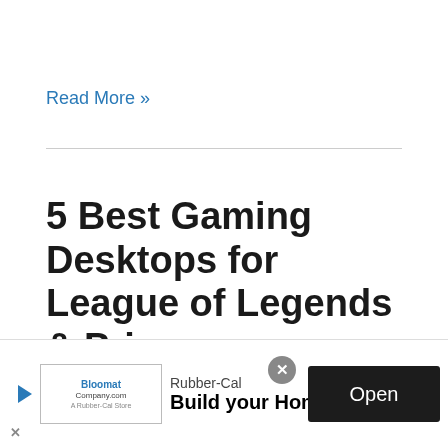Read More »
5 Best Gaming Desktops for League of Legends & Price
By Taylor Swift / Best Desktops
What are the best gaming desktops for League of Legends? The battle revel kind of gaming is a ve...
[Figure (screenshot): Advertisement banner for Rubber-Cal showing a logo, 'Build your Home Gym' text, an Open button, and a close X button]